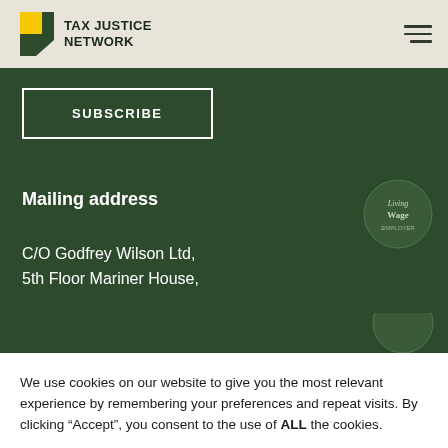TAX JUSTICE NETWORK
[Figure (logo): Tax Justice Network logo with yellow and green arrow icon and bold text]
SUBSCRIBE
Mailing address
C/O Godfrey Wilson Ltd,
5th Floor Mariner House,
[Figure (illustration): Living Wage employer circular badge in dark green]
[Figure (illustration): Partially visible circular badge at bottom right]
We use cookies on our website to give you the most relevant experience by remembering your preferences and repeat visits. By clicking “Accept”, you consent to the use of ALL the cookies.
Cookie settings
ACCEPT